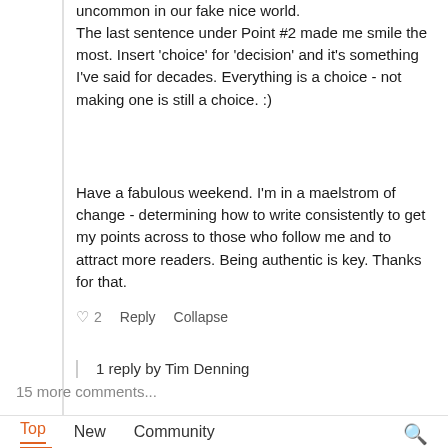uncommon in our fake nice world.
The last sentence under Point #2 made me smile the most. Insert 'choice' for 'decision' and it's something I've said for decades. Everything is a choice - not making one is still a choice. :)
Have a fabulous weekend. I'm in a maelstrom of change - determining how to write consistently to get my points across to those who follow me and to attract more readers. Being authentic is key. Thanks for that.
♡ 2   Reply   Collapse
1 reply by Tim Denning
15 more comments...
Top   New   Community